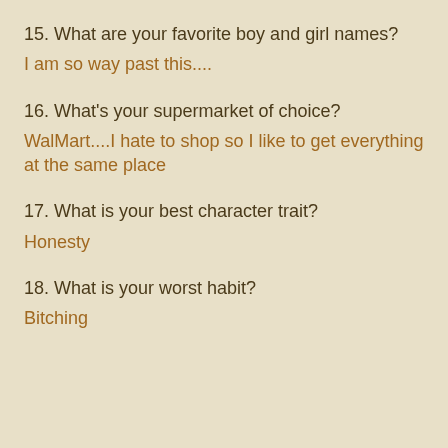15. What are your favorite boy and girl names?
I am so way past this....
16. What's your supermarket of choice?
WalMart....I hate to shop so I like to get everything at the same place
17. What is your best character trait?
Honesty
18. What is your worst habit?
Bitching